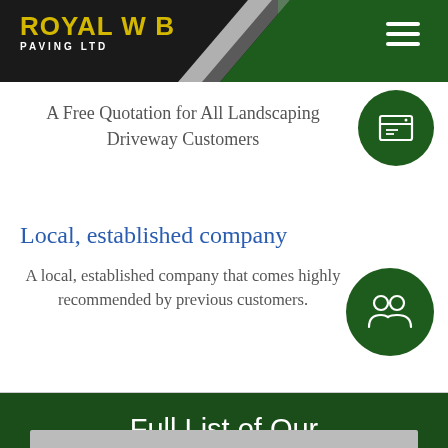ROYAL W B PAVING LTD
A Free Quotation for All Landscaping Driveway Customers
Local, established company
A local, established company that comes highly recommended by previous customers.
Full List of Our Services
[Figure (photo): Bottom photo strip preview]